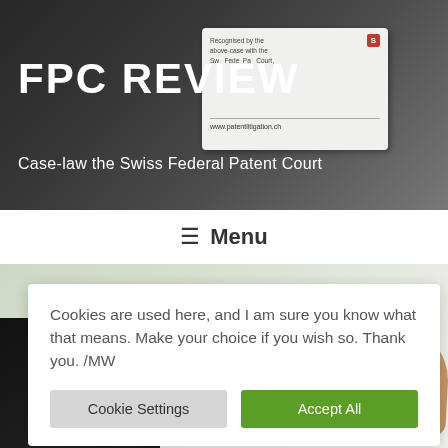FPC REVIEW
Case-law the Swiss Federal Patent Court
≡  Menu
[Figure (photo): Hands exchanging euro banknotes against a light background]
Cookies are used here, and I am sure you know what that means. Make your choice if you wish so. Thank you. /MW